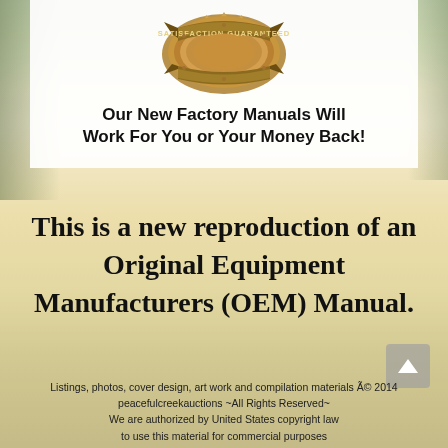[Figure (logo): Satisfaction Guaranteed badge/seal - circular gold gear-shaped badge with ribbon banner]
Our New Factory Manuals Will Work For You or Your Money Back!
This is a new reproduction of an Original Equipment Manufacturers (OEM) Manual.
Listings, photos, cover design, art work and compilation materials © 2014 peacefulcreekauctions ~All Rights Reserved~ We are authorized by United States copyright law to use this material for commercial purposes